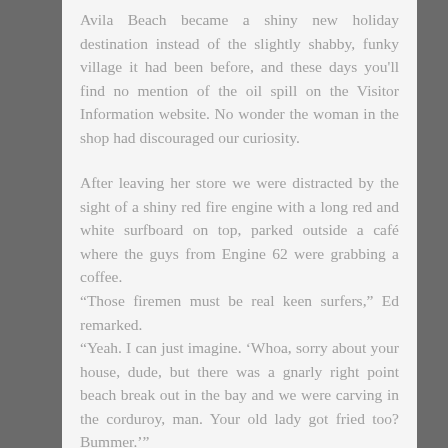Avila Beach became a shiny new holiday destination instead of the slightly shabby, funky village it had been before, and these days you'll find no mention of the oil spill on the Visitor Information website. No wonder the woman in the shop had discouraged our curiosity.
After leaving her store we were distracted by the sight of a shiny red fire engine with a long red and white surfboard on top, parked outside a café where the guys from Engine 62 were grabbing a coffee. “Those firemen must be real keen surfers,” Ed remarked. “Yeah. I can just imagine. ‘Whoa, sorry about your house, dude, but there was a gnarly right point beach break out in the bay and we were carving in the corduroy, man. Your old lady got fried too? Bummer.’” “Or perhaps it’s for rescue work.”